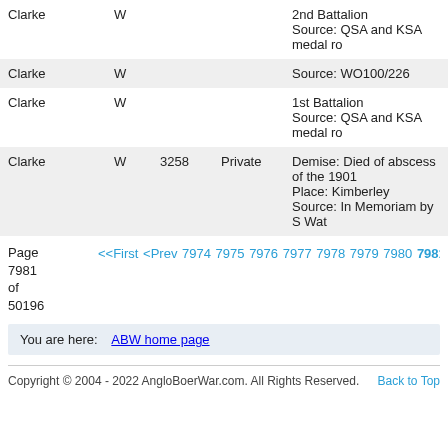| Name | Init | Number | Rank | Info |
| --- | --- | --- | --- | --- |
| Clarke | W |  |  | 2nd Battalion
Source: QSA and KSA medal ro |
| Clarke | W |  |  | Source: WO100/226 |
| Clarke | W |  |  | 1st Battalion
Source: QSA and KSA medal ro |
| Clarke | W | 3258 | Private | Demise: Died of abscess of the 1901
Place: Kimberley
Source: In Memoriam by S Wat |
Page 7981 of 50196
<<First <Prev 7974 7975 7976 7977 7978 7979 7980 7981 7982 7983
You are here:   ABW home page
Copyright © 2004 - 2022 AngloBoerWar.com. All Rights Reserved.